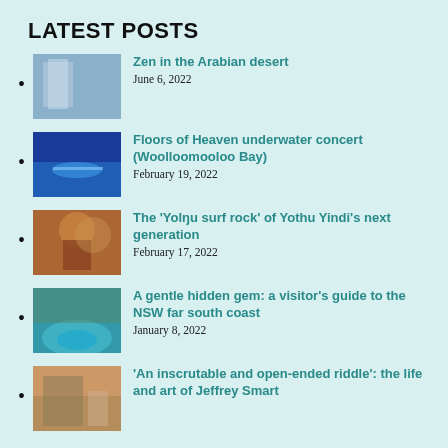LATEST POSTS
Zen in the Arabian desert
June 6, 2022
Floors of Heaven underwater concert (Woolloomooloo Bay)
February 19, 2022
The 'Yolŋu surf rock' of Yothu Yindi's next generation
February 17, 2022
A gentle hidden gem: a visitor's guide to the NSW far south coast
January 8, 2022
'An inscrutable and open-ended riddle': the life and art of Jeffrey Smart